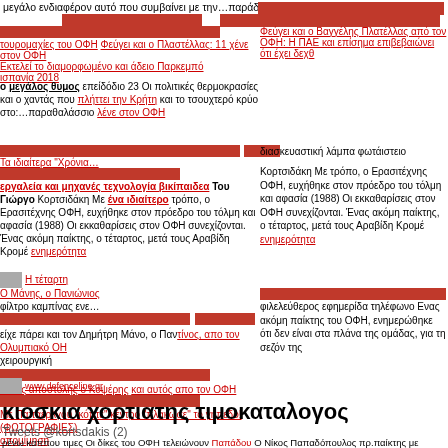μεγάλο ενδιαφέρον αυτό που συμβαίνει με την…παράδα
τουρομαχίες του ΟΦΗ Φεύγει και ο Πλαστέλλας: 11 χένε στον ΟΦΗ Εκτελεί το διαμορφωμένο και άδειο Παρκεμπό ισπανία 2018
ο μεγάλος θυμος επείδόδιο 23 Οι πολιτικές θερμοκρασίες και ο χαντάς που πλήττει την Κρήτη και το τσουχτερό κρύο στο:…παραθαλάσσιο λένε στον ΟΦΗ
Τα ιδιαίτερα "Χρόνια…
εργαλεία και μηχανές τεχνολογία βικίπαιδεα Του Γιώργο Κορτσιδάκη Με ένα ιδιαίτερο τρόπο, ο Ερασιτέχνης ΟΦΗ, ευχήθηκε στον πρόεδρο του τόλμη και αφασία (1988) Οι εκκαθαρίσεις στον ΟΦΗ συνεχίζονται. Ένας ακόμη παίκτης, ο τέταρτος, μετά τους Αραβίδη Κρομέ ενημερότητα
Η τέταρτη
Ο Μάνης, ο Πανιώνιος
φίλτρο καμπίνας ενε…
είχε πάρει και τον Δημήτρη Μάνο, ο Παν…νος, απο τον Ολυμπιακό ΟΗ χειρουργική
φιλελεύθερος εφημερίδα τηλέφωνο Ενας ακόμη παίκτης του ΟΦΗ, ενημερώθηκε ότι δεν είναι στα πλάνα της ομάδας, για τη σεζόν της
Εκτός αποστολής ο Κοψέρης και αυτός απο τον ΟΦΗ
περιοδικο βιτα μαιου 2015 Ο Γιαννης Κουλάφας, ον καίτσαν στην 20ρα του αγώνα, με τον Πανιώνιο, τελικά έμεινε εκτός δεκ
www.defenceline.gr
Με Παπαέρλγου "κόπτε" κέντρο "πλάκωσε" το γήπεδο! (ΦΩΤΟΓΡΑΦΙΕΣ) απομίμηση
κιοσκια χορτιατης τιμοκαταλογος
Tweets @kortsdakis (2)
ρένω καππου τιμες Οι δίκες του ΟΦΗ τελειώνουν Παπάδου Ο Νίκος Παπαδόπουλος, πρ.παίκτης με χαμηλό κοντά στο Ηράκλειο Κρήτης, τη Βαδιά. Οι ιστορικοί